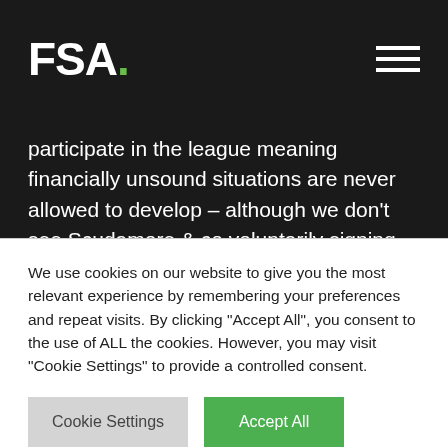FSA.
participate in the league meaning financially unsound situations are never allowed to develop – although we don't see Scudamore & co voluntarily signing up to that anytime soon.
The timing of the Premier League's announcement caught our attention too – coming as it did only hours before Uefa's 'financial fair play rules'. Uefa's proposals look far more
We use cookies on our website to give you the most relevant experience by remembering your preferences and repeat visits. By clicking "Accept All", you consent to the use of ALL the cookies. However, you may visit "Cookie Settings" to provide a controlled consent.